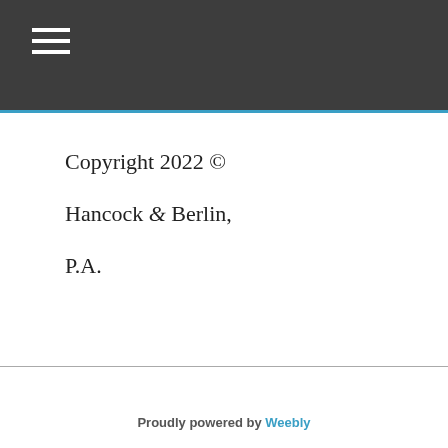☰
Copyright 2022 ©
Hancock & Berlin,
P.A.
Proudly powered by Weebly